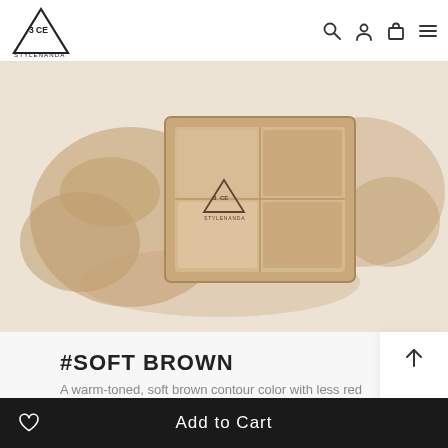[Figure (logo): 3CE STYLENANDA triangular logo in top-left header]
[Figure (photo): 3CE STYLENANDA dual-tone contouring powder palette (soft brown shades) shown open with powder smear on beige/tan background]
#SOFT BROWN
A warm-toned, soft brown contour color with less red
Add to Cart